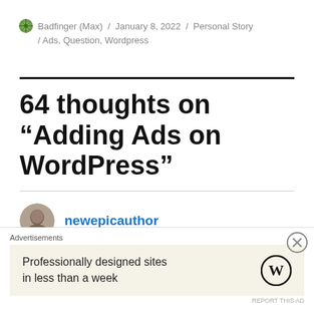Badfinger (Max) / January 8, 2022 / Personal Story / Ads, Question, Wordpress
64 thoughts on “Adding Ads on WordPress”
newepicauthor
January 8, 2022 at 11:23 am
I don’t like adds on my site, but whatever you
[Figure (other): WordPress advertisement banner: 'Professionally designed sites in less than a week' with WordPress logo]